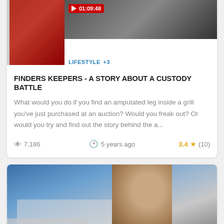[Figure (screenshot): Thumbnail images: red car door on left, video thumbnail with play button showing 01:09:48 on right]
LIFESTYLE +3
FINDERS KEEPERS - A STORY ABOUT A CUSTODY BATTLE
What would you do if you find an amputated leg inside a grill you've just purchased at an auction? Would you freak out? Or would you try and find out the story behind the a...
7,186   5 years ago   3.4 ★ (10)
[Figure (photo): Photo of a man in front of what appears to be the White House]